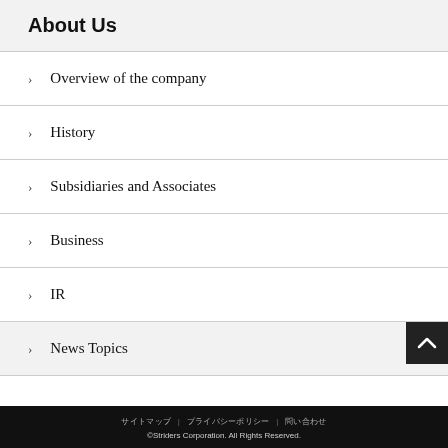About Us
Overview of the company
History
Subsidiaries and Associates
Business
IR
News Topics
©Striders Corporation. All Rights Reserved.